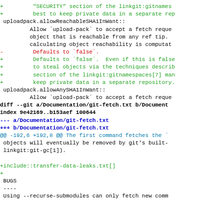+         "SECURITY" section of the linkgit:gitnamespace
+         best to keep private data in a separate rep
uploadpack.allowReachableSHA1InWant::
         Allow `upload-pack` to accept a fetch reque
         object that is reachable from any ref tip.
         calculating object reachability is computat
-         Defaults to `false`.
+         Defaults to `false`.  Even if this is false
+         to steal objects via the techniques describ
+         section of the linkgit:gitnamespaces[7] man
+         keep private data in a separate repository.
uploadpack.allowAnySHA1InWant::
         Allow `upload-pack` to accept a fetch reque
diff --git a/Documentation/git-fetch.txt b/Document
index 9e42169..b153aef 100644
--- a/Documentation/git-fetch.txt
+++ b/Documentation/git-fetch.txt
@@ -192,6 +192,8 @@ The first command fetches the `
 objects will eventually be removed by git's built-
 linkgit:git-gc[1]).

+include::transfer-data-leaks.txt[]
+
 BUGS
 ----
 Using --recurse-submodules can only fetch new comm